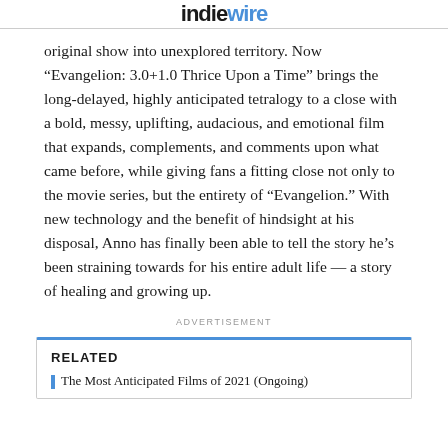IndieWire
original show into unexplored territory. Now “Evangelion: 3.0+1.0 Thrice Upon a Time” brings the long-delayed, highly anticipated tetralogy to a close with a bold, messy, uplifting, audacious, and emotional film that expands, complements, and comments upon what came before, while giving fans a fitting close not only to the movie series, but the entirety of “Evangelion.” With new technology and the benefit of hindsight at his disposal, Anno has finally been able to tell the story he’s been straining towards for his entire adult life — a story of healing and growing up.
ADVERTISEMENT
RELATED
The Most Anticipated Films of 2021 (Ongoing)